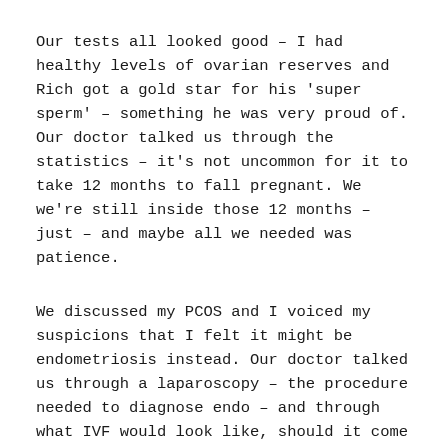Our tests all looked good – I had healthy levels of ovarian reserves and Rich got a gold star for his 'super sperm' – something he was very proud of. Our doctor talked us through the statistics – it's not uncommon for it to take 12 months to fall pregnant. We we're still inside those 12 months – just – and maybe all we needed was patience.
We discussed my PCOS and I voiced my suspicions that I felt it might be endometriosis instead. Our doctor talked us through a laparoscopy – the procedure needed to diagnose endo – and through what IVF would look like, should it come to that.
But it didn't come to that. A few months after seeing the fertility doctor I said to Rich "I Googled traditional Greek boys names at work today."